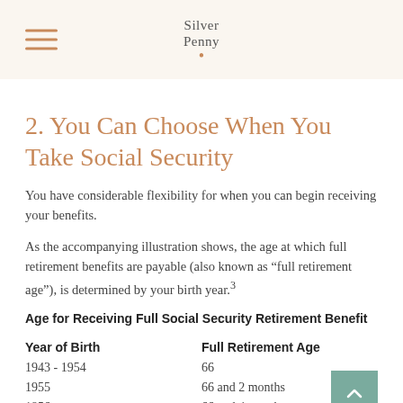Silver Penny
2. You Can Choose When You Take Social Security
You have considerable flexibility for when you can begin receiving your benefits.
As the accompanying illustration shows, the age at which full retirement benefits are payable (also known as “full retirement age”), is determined by your birth year.³
Age for Receiving Full Social Security Retirement Benefit
| Year of Birth | Full Retirement Age |
| --- | --- |
| 1943 - 1954 | 66 |
| 1955 | 66 and 2 months |
| 1956 | 66 and 4 months |